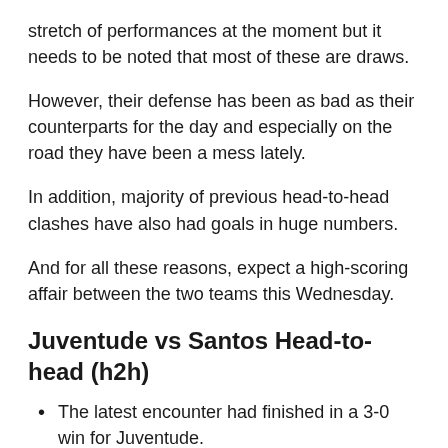stretch of performances at the moment but it needs to be noted that most of these are draws.
However, their defense has been as bad as their counterparts for the day and especially on the road they have been a mess lately.
In addition, majority of previous head-to-head clashes have also had goals in huge numbers.
And for all these reasons, expect a high-scoring affair between the two teams this Wednesday.
Juventude vs Santos Head-to-head (h2h)
The latest encounter had finished in a 3-0 win for Juventude.